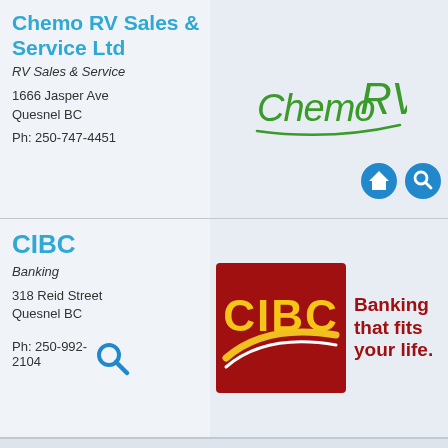Chemo RV Sales & Service Ltd
RV Sales & Service
1666 Jasper Ave
Quesnel BC
Ph: 250-747-4451
[Figure (logo): Chemo RV handwritten-style green logo]
CIBC
Banking
318 Reid Street
Quesnel BC
Ph: 250-992-2104
[Figure (logo): CIBC logo on red background with yellow swoosh, with tagline Banking that fits your life.]